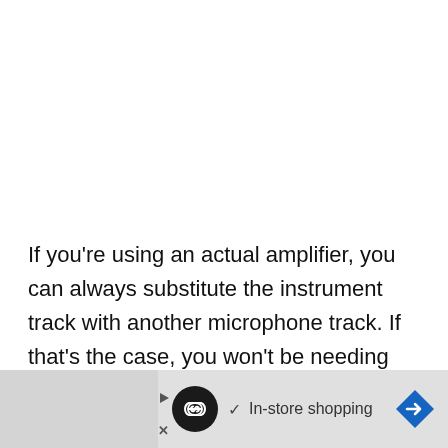If you're using an actual amplifier, you can always substitute the instrument track with another microphone track. If that's the case, you won't be needing amp modelling software.
At this point, you simply need to ask yourself…
[Figure (screenshot): Advertisement banner showing a circular icon with infinity symbol, a checkmark with 'In-store shopping' text, and a blue diamond-shaped arrow button on a light grey background. Small play and X buttons on the left side.]